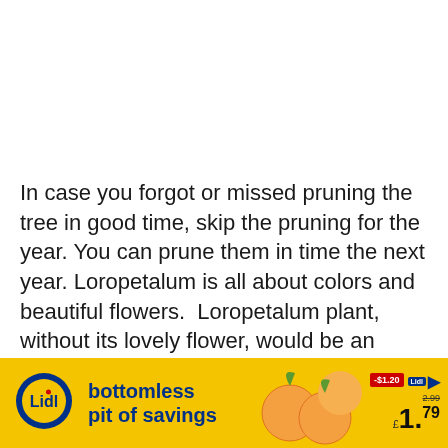In case you forgot or missed pruning the tree in good time, skip the pruning for the year. You can prune them in time the next year. Loropetalum is all about colors and beautiful flowers.  Loropetalum plant, without its lovely flower, would be an awful sight.
So the timing of the pruning is crucial. You should adjust it in such a way, that the
[Figure (other): Lidl advertisement banner showing logo, 'bottomless pit of savings' text, peaches, price tag showing $1.20 off, was 2.99, now £1.79]